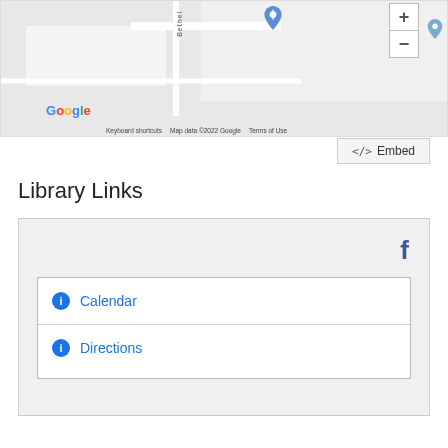[Figure (map): Google Maps embed showing a street map with a location pin and zoom controls. Shows 'Bethel' street label, Google logo, keyboard shortcuts, map data copyright 2022 Google, and Terms of Use.]
<> Embed
Library Links
[Figure (infographic): Library Links widget box with Facebook icon and two link rows: Calendar and Directions, each with a blue info circle icon.]
Calendar
Directions